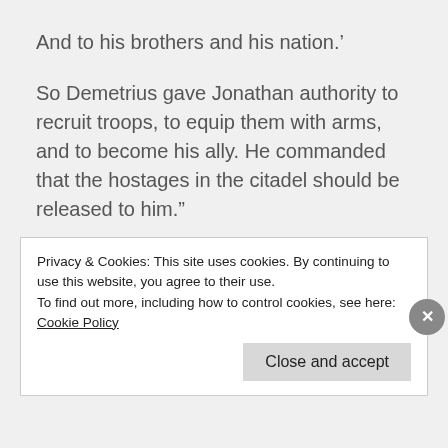And to his brothers and his nation.'
So Demetrius gave Jonathan authority to recruit troops, to equip them with arms, and to become his ally. He commanded that the hostages in the citadel should be released to him.”
About 7 years later, in 152 BCE, we see the struggle of the son of King Antiochus IV, Alexander versus Demetrius I, the son of King Seleucus IV. Alexander
Privacy & Cookies: This site uses cookies. By continuing to use this website, you agree to their use.
To find out more, including how to control cookies, see here: Cookie Policy